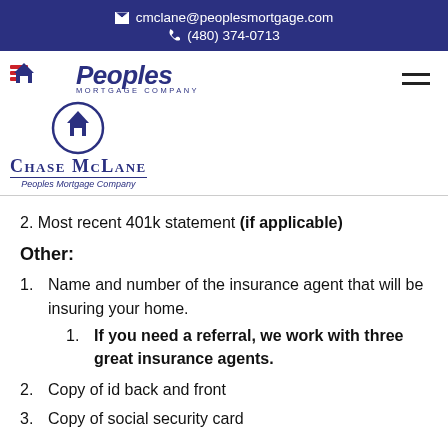cmclane@peoplesmortgage.com | (480) 374-0713
[Figure (logo): Peoples Mortgage Company logo with Chase McLane name and house icon]
2. Most recent 401k statement (if applicable)
Other:
1. Name and number of the insurance agent that will be insuring your home.
1. If you need a referral, we work with three great insurance agents.
2. Copy of id back and front
3. Copy of social security card